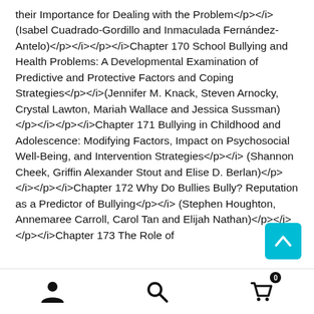their Importance for Dealing with the Problem</p></i> (Isabel Cuadrado-Gordillo and Inmaculada Fernández-Antelo)</p></i></p></i>Chapter 170 School Bullying and Health Problems: A Developmental Examination of Predictive and Protective Factors and Coping Strategies</p></i>(Jennifer M. Knack, Steven Arnocky, Crystal Lawton, Mariah Wallace and Jessica Sussman)</p></i></p></i>Chapter 171 Bullying in Childhood and Adolescence: Modifying Factors, Impact on Psychosocial Well-Being, and Intervention Strategies</p></i> (Shannon Cheek, Griffin Alexander Stout and Elise D. Berlan)</p></i></p></i>Chapter 172 Why Do Bullies Bully? Reputation as a Predictor of Bullying</p></i> (Stephen Houghton, Annemaree Carroll, Carol Tan and Elijah Nathan)</p></i></p></i>Chapter 173 The Role of
[Figure (other): Scroll-to-top button (teal/cyan square with upward chevron arrow)]
[Figure (other): Bottom navigation bar with person icon, search icon, and shopping cart icon with badge showing 0]